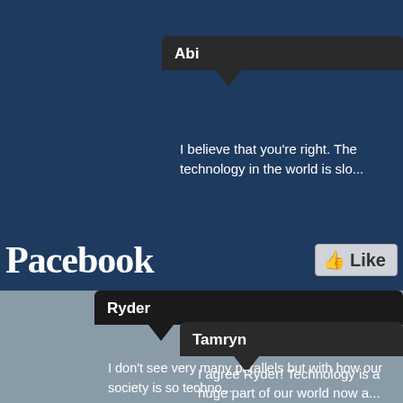Abi
I believe that you're right. The technology in the world is slo...
[Figure (screenshot): Facebook-style logo reading 'Pacebook' with a Like button on the right]
Ryder
I don't see very many parallels but with how our society is so techno... take over to the extent that our entire society will be ran purely on te... how much we use technology services from having it as our main wa... personal information can be found on the internet. I feel that Orwell... our newest technologies and the internet.
Tamryn
I agree Ryder! Technology is a huge part of our world now a...